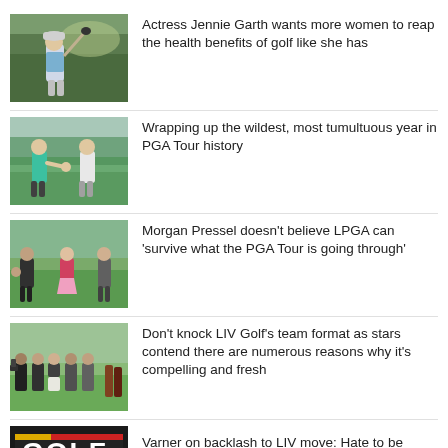[Figure (photo): Golfer mid-swing with club, wearing cap and blue shirt, outdoor trees background]
Actress Jennie Garth wants more women to reap the health benefits of golf like she has
[Figure (photo): Two male golfers in teal/white shirts on golf course]
Wrapping up the wildest, most tumultuous year in PGA Tour history
[Figure (photo): Morgan Pressel and other golfers on course, woman in pink skirt]
Morgan Pressel doesn’t believe LPGA can ‘survive what the PGA Tour is going through’
[Figure (photo): Group of golfers and caddies standing on golf course fairway]
Don’t knock LIV Golf’s team format as stars contend there are numerous reasons why it’s compelling and fresh
[Figure (photo): Golf branded banner or sign, partial view]
Varner on backlash to LIV move: Hate to be